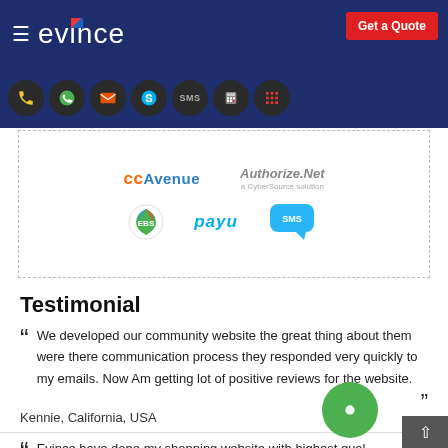≡ evince   Get a Quote
[Figure (infographic): Row of dark circular social/contact icons: phone, WhatsApp, email, Skype, SMS, calculator, grid]
[Figure (infographic): Payment gateway logos: CCAvenue, Authorize.Net (a CyberSource solution), EBS, PayU, SMS icon]
Testimonial
We developed our community website the great thing about them were there communication process they responded very quickly to my emails. Now Am getting lot of positive reviews for the website.
Kennie, California, USA
Evince have done my shopping website with highest quality there is no doubt that I will work with them again.